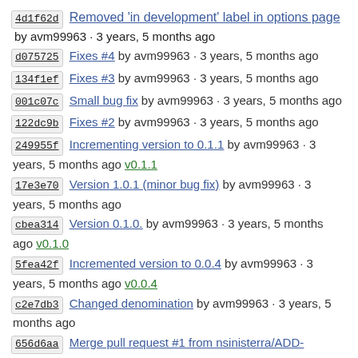4d1f62d Removed 'in development' label in options page by avm99963 · 3 years, 5 months ago
d075725 Fixes #4 by avm99963 · 3 years, 5 months ago
134f1ef Fixes #3 by avm99963 · 3 years, 5 months ago
001c07c Small bug fix by avm99963 · 3 years, 5 months ago
122dc9b Fixes #2 by avm99963 · 3 years, 5 months ago
249955f Incrementing version to 0.1.1 by avm99963 · 3 years, 5 months ago v0.1.1
17e3e70 Version 1.0.1 (minor bug fix) by avm99963 · 3 years, 5 months ago
cbea314 Version 0.1.0. by avm99963 · 3 years, 5 months ago v0.1.0
5fea42f Incremented version to 0.0.4 by avm99963 · 3 years, 5 months ago v0.0.4
c2e7db3 Changed denomination by avm99963 · 3 years, 5 months ago
656d6aa Merge pull request #1 from nsinisterra/ADD-